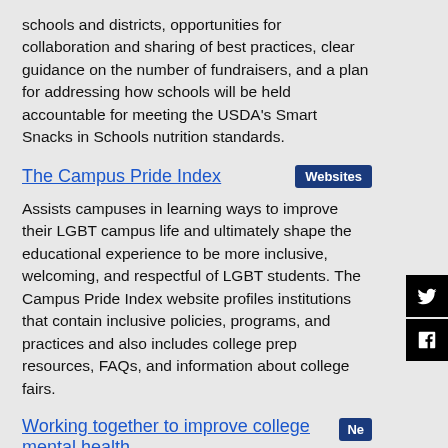schools and districts, opportunities for collaboration and sharing of best practices, clear guidance on the number of fundraisers, and a plan for addressing how schools will be held accountable for meeting the USDA's Smart Snacks in Schools nutrition standards.
The Campus Pride Index
Assists campuses in learning ways to improve their LGBT campus life and ultimately shape the educational experience to be more inclusive, welcoming, and respectful of LGBT students. The Campus Pride Index website profiles institutions that contain inclusive policies, programs, and practices and also includes college prep resources, FAQs, and information about college fairs.
Working together to improve college mental health
Nationwide, stigma has eased and access to care has improved thanks to research, innovations and outreach